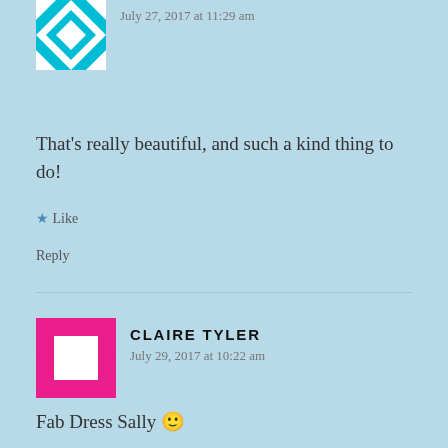[Figure (illustration): Teal and white geometric quilt-pattern avatar, partially visible at top]
July 27, 2017 at 11:29 am
That's really beautiful, and such a kind thing to do!
★ Like
Reply
[Figure (illustration): Pink/magenta and white geometric quilt-pattern avatar]
CLAIRE TYLER
July 29, 2017 at 10:22 am
Fab Dress Sally 🙂
★ Like
Reply